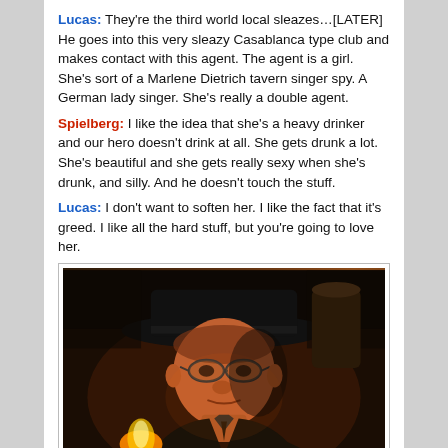Lucas: They're the third world local sleazes…[LATER] He goes into this very sleazy Casablanca type club and makes contact with this agent. The agent is a girl. She's sort of a Marlene Dietrich tavern singer spy. A German lady singer. She's really a double agent.
Spielberg: I like the idea that she's a heavy drinker and our hero doesn't drink at all. She gets drunk a lot. She's beautiful and she gets really sexy when she's drunk, and silly. And he doesn't touch the stuff.
Lucas: I don't want to soften her. I like the fact that it's greed. I like all the hard stuff, but you're going to love her.
[Figure (photo): A man wearing a dark fedora hat and glasses, lit dramatically with warm amber/orange light from below, seen from slightly below eye level against a dark background. He appears to be holding a light source.]